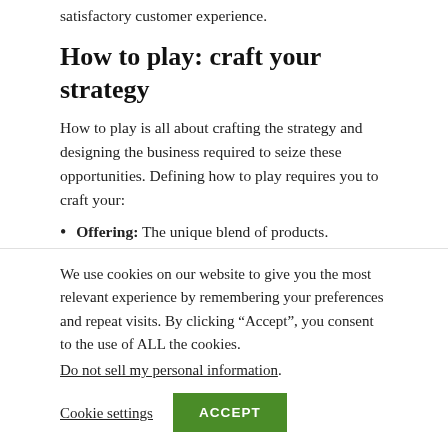satisfactory customer experience.
How to play: craft your strategy
How to play is all about crafting the strategy and designing the business required to seize these opportunities. Defining how to play requires you to craft your:
Offering: The unique blend of products.
We use cookies on our website to give you the most relevant experience by remembering your preferences and repeat visits. By clicking “Accept”, you consent to the use of ALL the cookies.
Do not sell my personal information.
Cookie settings    ACCEPT